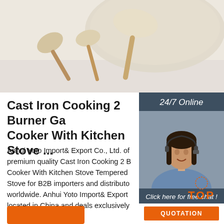[Figure (photo): Photo of wooden spoons/spatulas on a light beige background, product listing image]
Cast Iron Cooking 2 Burner Gas Cooker With Kitchen Stove ...
Anhui Yoto Import& Export Co., Ltd. offers premium quality Cast Iron Cooking 2 Burner Gas Cooker With Kitchen Stove Tempered Glass Stove for B2B importers and distributors worldwide. Anhui Yoto Import& Export Co., Ltd. is located in China and deals exclusively in the production and export of Cooktops. This product is also CB, ce certified.
[Figure (photo): Sidebar with 24/7 Online label, customer service representative photo, Click here for free chat text, QUOTATION orange button, and TOP badge]
[Figure (other): Orange button at bottom left]